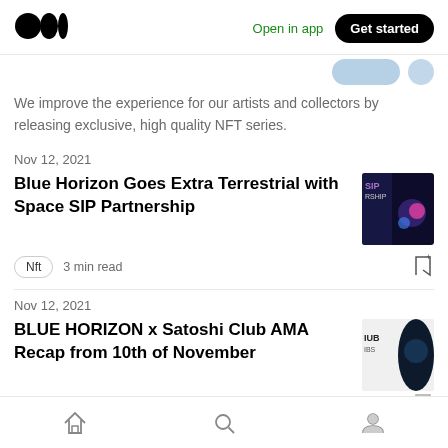Open in app  Get started
We improve the experience for our artists and collectors by releasing exclusive, high quality NFT series.
Nov 12, 2021
Blue Horizon Goes Extra Terrestrial with Space SIP Partnership
Nft  3 min read
Nov 12, 2021
BLUE HORIZON x Satoshi Club AMA Recap from 10th of November
Home  Search  Profile